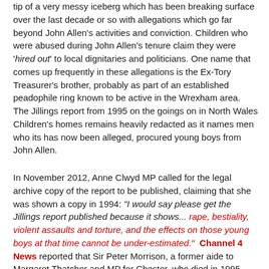tip of a very messy iceberg which has been breaking surface over the last decade or so with allegations which go far beyond John Allen's activities and conviction. Children who were abused during John Allen's tenure claim they were 'hired out' to local dignitaries and politicians. One name that comes up frequently in these allegations is the Ex-Tory Treasurer's brother, probably as part of an established peadophile ring known to be active in the Wrexham area. The Jillings report from 1995 on the goings on in North Wales Children's homes remains heavily redacted as it names men who its has now been alleged, procured young boys from John Allen.
In November 2012, Anne Clwyd MP called for the legal archive copy of the report to be published, claiming that she was shown a copy in 1994: "I would say please get the Jillings report published because it shows... rape, bestiality, violent assaults and torture, and the effects on those young boys at that time cannot be under-estimated." Channel 4 News reported that Sir Peter Morrison, a former aide to Margaret Thatcher and MP for Chester, who died in 1995, had been 'seen' driving a boy away from the Bryn Estyn home in North Wales. The Conservative Party said that they